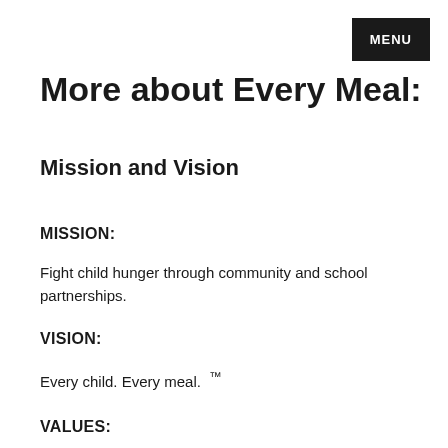MENU
More about Every Meal:
Mission and Vision
MISSION:
Fight child hunger through community and school partnerships.
VISION:
Every child. Every meal. ™
VALUES: